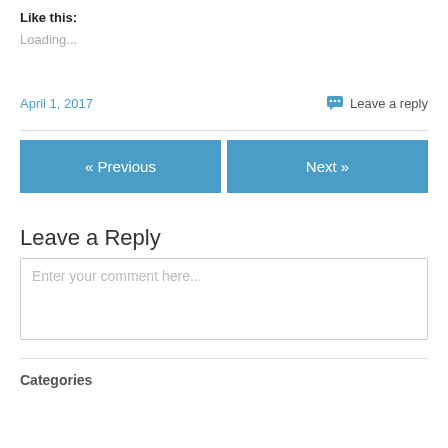Like this:
Loading...
April 1, 2017
Leave a reply
« Previous
Next »
Leave a Reply
Enter your comment here...
Categories